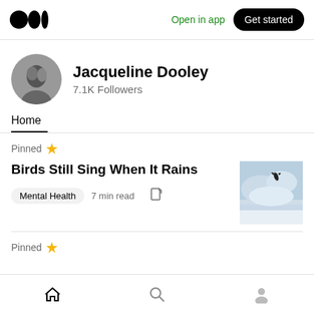Medium logo | Open in app | Get started
[Figure (logo): Medium logo (three dots/circles) in black]
Open in app
Get started
[Figure (photo): Circular black and white avatar photo of Jacqueline Dooley]
Jacqueline Dooley
7.1K Followers
Home
Pinned
Birds Still Sing When It Rains
Mental Health   7 min read
[Figure (photo): Thumbnail image of a bird flying in cloudy sky]
Pinned
Home | Search | Profile navigation icons